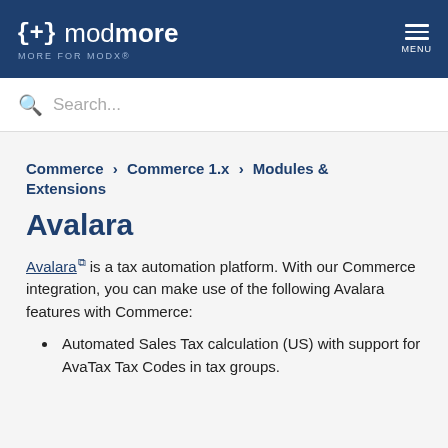{+} modmore MORE FOR MODX® MENU
Search...
Commerce > Commerce 1.x > Modules & Extensions
Avalara
Avalara is a tax automation platform. With our Commerce integration, you can make use of the following Avalara features with Commerce:
Automated Sales Tax calculation (US) with support for AvaTax Tax Codes in tax groups.